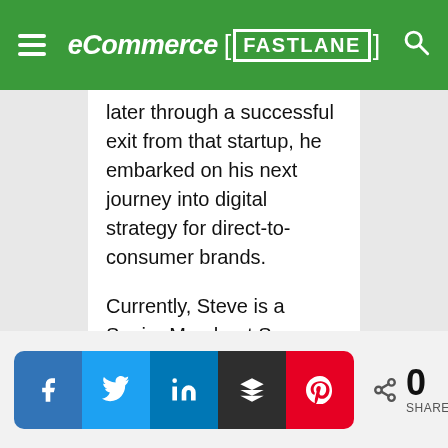eCommerce FASTLANE
later through a successful exit from that startup, he embarked on his next journey into digital strategy for direct-to-consumer brands.
Currently, Steve is a Senior Merchant Success Manager at Shopify, where he helps brands to identify, navigate and accelerate growth online and in-store.
To maintain his competitive edge, Steve also hosts the top-rated twice-weekly podcast